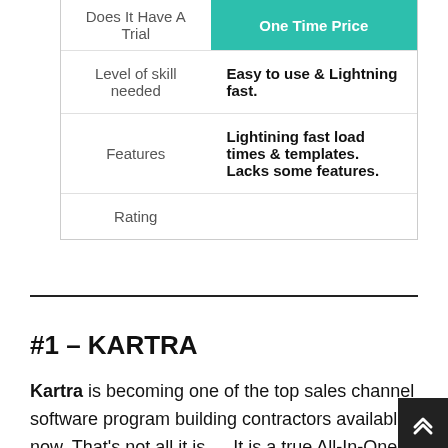|  | One Time Price |
| --- | --- |
| Does It Have A Trial |  |
| Level of skill needed | Easy to use & Lightning fast. |
| Features | Lightining fast load times & templates. Lacks some features. |
| Rating |  |
#1 – KARTRA
Kartra is becoming one of the top sales channel software program building contractors available now. That's not all it is … It is a true All-In-One marketing platform that is incredibly powerful for practically any type of organisation.